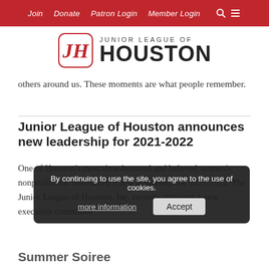Join | Donate | Patron Login | Member Login
[Figure (logo): Junior League of Houston logo with ornate JH monogram emblem and text 'JUNIOR LEAGUE OF HOUSTON']
others around us. These moments are what people remember.
Junior League of Houston announces new leadership for 2021-2022
One of Houston's most time-honored and beloved women's nonprofits has announced a new leadership for 2021-2022. The Junior League of Houston, Inc. recently inducted a new executive committee.
By continuing to use the site, you agree to the use of cookies.
Summer Soiree